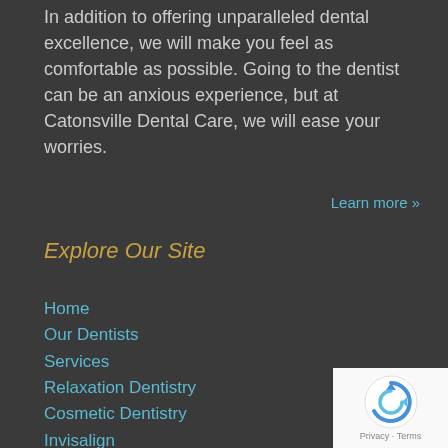In addition to offering unparalleled dental excellence, we will make you feel as comfortable as possible. Going to the dentist can be an anxious experience, but at Catonsville Dental Care, we will ease your worries.
Learn more »
Explore Our Site
Home
Our Dentists
Services
Relaxation Dentistry
Cosmetic Dentistry
Invisalign
Service Areas
FAQ
Emergencies
Testimonials
Facebook Rules & Regulations
Blog
Contact Us
[Figure (logo): reCAPTCHA logo with privacy and terms text]